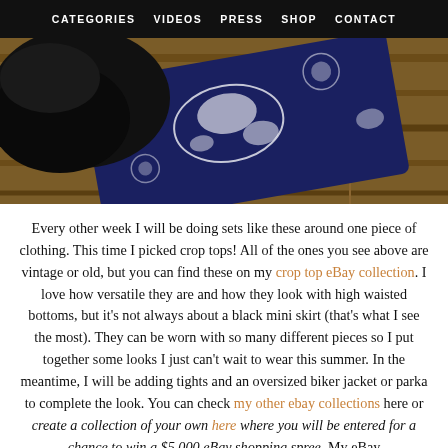CATEGORIES   VIDEOS   PRESS   SHOP   CONTACT
[Figure (photo): A navy blue crop top with white dragon print pattern laid on a wooden floor surface, with a black shoe visible in the upper left corner.]
Every other week I will be doing sets like these around one piece of clothing. This time I picked crop tops!  All of the ones you see above are vintage or old, but you can find these on my crop top eBay collection. I love how versatile they are and how they look with high waisted bottoms, but it's not always about a black mini skirt (that's what I see the most). They can be worn with so many different pieces so I put together some looks I just can't wait to wear this summer. In the meantime, I will be adding tights and an oversized biker jacket or parka to complete the look. You can check my other ebay collections here or create a collection of your own here where you will be entered for a chance to win a $5,000 eBay shopping spree.  My eBay